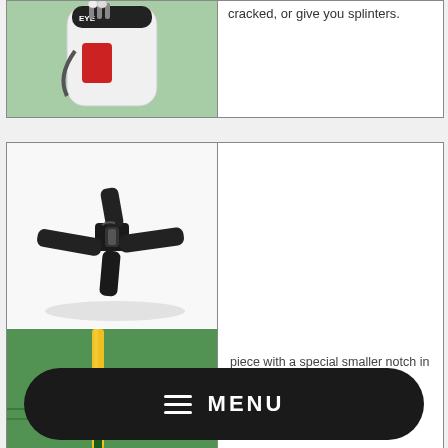[Figure (photo): Photo of a golf bag with club headcovers on green grass, partial view at top of page]
cracked, or give you splinters.
[Figure (photo): Photo of a black plastic cross piece golf accessory on white background]
[Figure (photo): Photo of a yellow and green golf flag/rod on grass, partially visible]
CROSS PIECE ONLY: You can always pick up another cross piece to add functionality to your
piece with a special smaller notch in the rod channel to
MENU